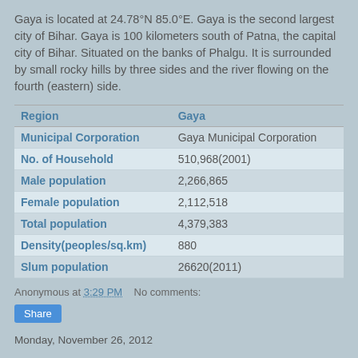Gaya is located at 24.78°N 85.0°E. Gaya is the second largest city of Bihar. Gaya is 100 kilometers south of Patna, the capital city of Bihar. Situated on the banks of Phalgu. It is surrounded by small rocky hills by three sides and the river flowing on the fourth (eastern) side.
| Region | Gaya |
| --- | --- |
| Municipal Corporation | Gaya Municipal Corporation |
| No. of Household | 510,968(2001) |
| Male population | 2,266,865 |
| Female population | 2,112,518 |
| Total population | 4,379,383 |
| Density(peoples/sq.km) | 880 |
| Slum population | 26620(2011) |
Anonymous at 3:29 PM   No comments:
Share
Monday, November 26, 2012